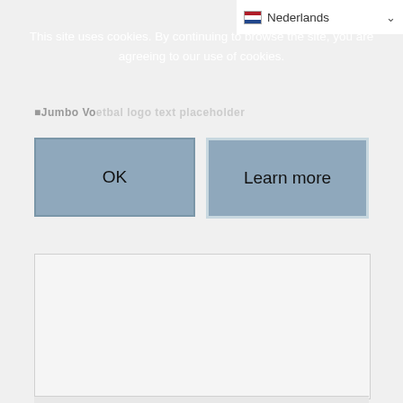[Figure (screenshot): Language selector dropdown showing 'nl Nederlands' with Dutch flag icon and dropdown arrow in top-right corner]
This site uses cookies. By continuing to browse the site, you are agreeing to our use of cookies.
[Figure (screenshot): Cookie consent dialog with two buttons: 'OK' and 'Learn more', displayed on a dark semi-transparent overlay over a webpage showing a Jumbo Voetbal logo]
[Figure (screenshot): White content area below the cookie banner, part of the underlying webpage]